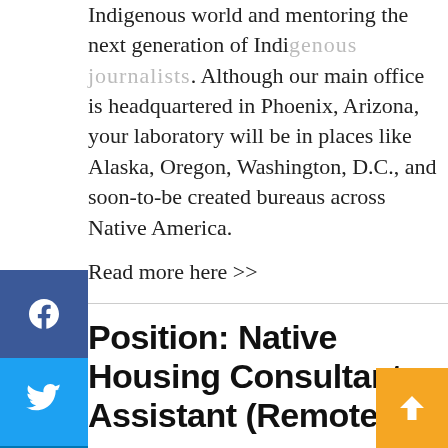Indigenous world and mentoring the next generation of Indigenous journalists. Although our main office is headquartered in Phoenix, Arizona, your laboratory will be in places like Alaska, Oregon, Washington, D.C., and soon-to-be created bureaus across Native America.
Read more here >>
Position: Native Housing Consultant Assistant (Remote)
Heroda Bikax^e Consulting LLC dba Morning Star Consulting is looking for a Native Housing Consultant Assistant to provide administrative support to the consulting firm. This role will assist in developing quality indian housing grant